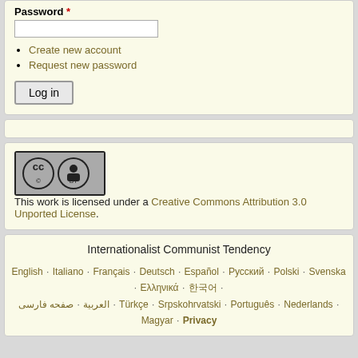Password *
Create new account
Request new password
Log in
[Figure (logo): Creative Commons BY license badge]
This work is licensed under a Creative Commons Attribution 3.0 Unported License.
Internationalist Communist Tendency
English · Italiano · Français · Deutsch · Español · Русский · Polski · Svenska · Ελληνικά · 한국어 · العربية · صفحه فارسی · Türkçe · Srpskohrvatski · Português · Nederlands · Magyar · Privacy